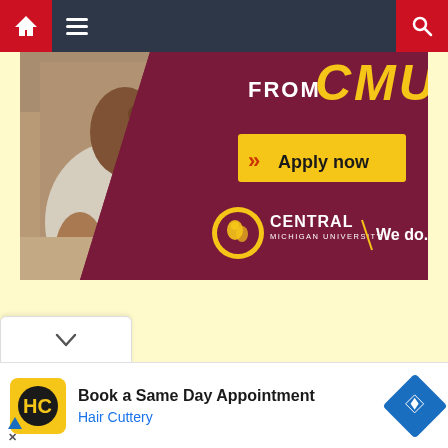Navigation bar with home, menu, and search icons
[Figure (illustration): CMU (Central Michigan University) advertisement banner. Left side shows a woman on phone at a desk. Right side is maroon/dark red with text 'FROM CMU', a yellow 'Apply now' button with red chevrons, and the Central Michigan University logo with tagline 'We do.']
[Figure (illustration): Hair Cuttery advertisement at the bottom: logo with HC initials in yellow/gold circle, text 'Book a Same Day Appointment' and 'Hair Cuttery' in blue, with a blue diamond navigation icon on the right. Small ad disclosure triangle and X below.]